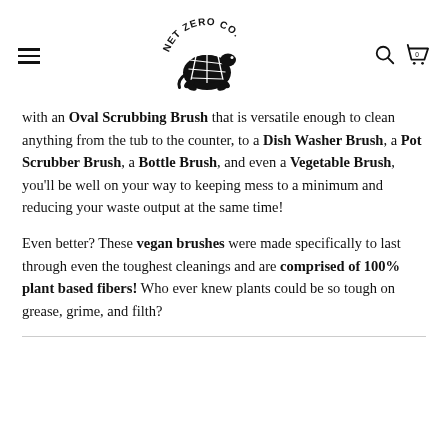Net Zero Co. — navigation header with hamburger menu, logo, search icon, and cart (0)
with an Oval Scrubbing Brush that is versatile enough to clean anything from the tub to the counter, to a Dish Washer Brush, a Pot Scrubber Brush, a Bottle Brush, and even a Vegetable Brush, you'll be well on your way to keeping mess to a minimum and reducing your waste output at the same time!

Even better? These vegan brushes were made specifically to last through even the toughest cleanings and are comprised of 100% plant based fibers! Who ever knew plants could be so tough on grease, grime, and filth?